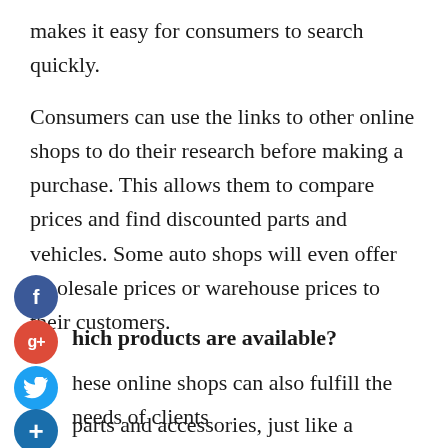makes it easy for consumers to search quickly.
Consumers can use the links to other online shops to do their research before making a purchase. This allows them to compare prices and find discounted parts and vehicles. Some auto shops will even offer wholesale prices or warehouse prices to their customers.
Which products are available?
These online shops can also fulfill the needs of clients parts and accessories, just like a traditional auto shop. You can get original and used parts for your car or truck from them. A wide range of styles and